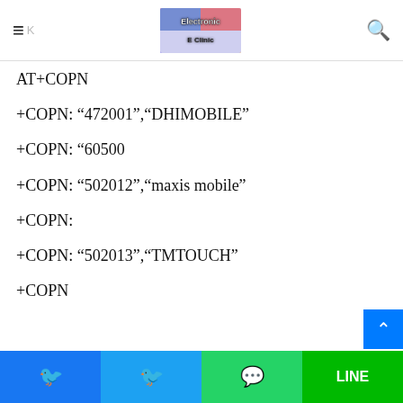Electronic Clinic
AT+COPN
+COPN: “472001”,“DHIMOBILE”
+COPN: “60500
+COPN: “502012”,“maxis mobile”
+COPN:
+COPN: “502013”,“TMTOUCH”
+COPN